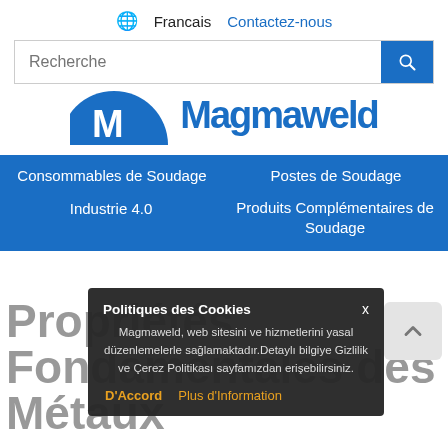🌐 Francais   Contactez-nous
[Figure (screenshot): Search bar with placeholder text 'Recherche' and a blue search button with magnifying glass icon]
[Figure (logo): Magmaweld logo — blue circular emblem with stylized M and brand name text]
Consommables de Soudage
Postes de Soudage
Industrie 4.0
Produits Complémentaires de Soudage
Propriétés Fondamentales des Métaux
Politiques des Cookies
Magmaweld, web sitesini ve hizmetlerini yasal düzenlemelerle sağlamaktadır.Detaylı bilgiye Gizlilik ve Çerez Politikası sayfamızdan erişebilirsiniz.
D'Accord   Plus d'Information